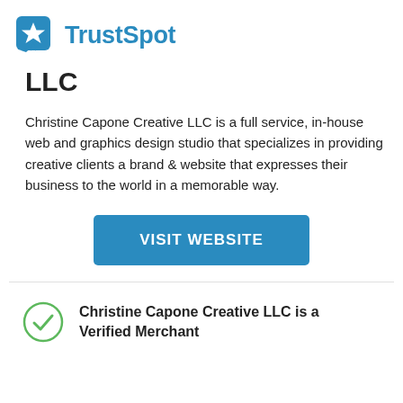[Figure (logo): TrustSpot logo: blue square with white star icon followed by bold blue text 'TrustSpot']
LLC
Christine Capone Creative LLC is a full service, in-house web and graphics design studio that specializes in providing creative clients a brand & website that expresses their business to the world in a memorable way.
[Figure (other): Blue button labeled 'VISIT WEBSITE']
Christine Capone Creative LLC is a Verified Merchant